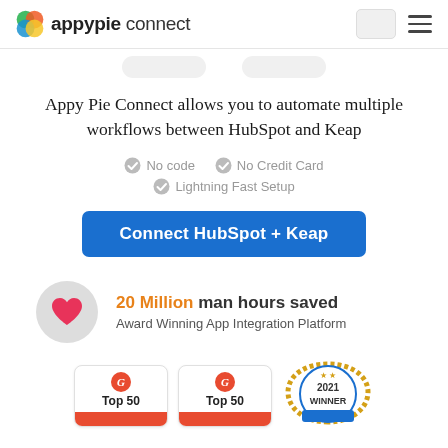appypie connect
Appy Pie Connect allows you to automate multiple workflows between HubSpot and Keap
No code
No Credit Card
Lightning Fast Setup
Connect HubSpot + Keap
20 Million man hours saved
Award Winning App Integration Platform
[Figure (logo): Two G2 Top 50 award badges and one 2021 Winner award badge]